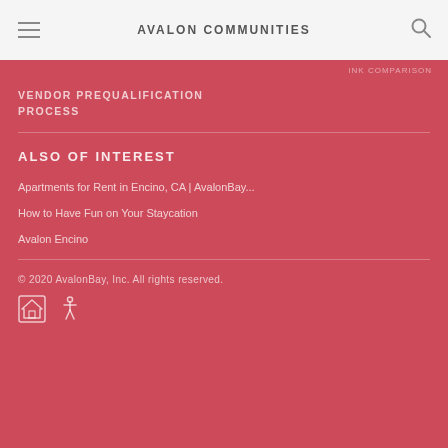AVALON COMMUNITIES
VENDOR PREQUALIFICATION PROCESS
ALSO OF INTEREST
Apartments for Rent in Encino, CA | AvalonBay...
How to Have Fun on Your Staycation
Avalon Encino
© 2020 AvalonBay, Inc. All rights reserved.